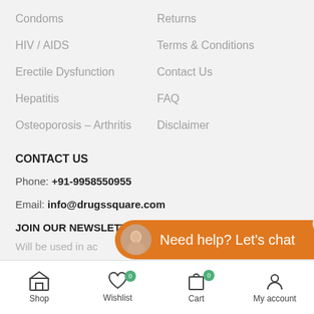Condoms
Returns
HIV / AIDS
Terms & Conditions
Erectile Dysfunction
Contact Us
Hepatitis
FAQ
Osteoporosis – Arthritis
Disclaimer
CONTACT US
Phone: +91-9958550955
Email: info@drugssquare.com
JOIN OUR NEWSLETTER:
Will be used in ac
[Figure (screenshot): Orange chat widget with avatar and text 'Need help? Let's chat', close button, and expand arrow]
[Figure (screenshot): Bottom navigation bar with Shop, Wishlist (badge 0), Cart (badge 0), My account icons]